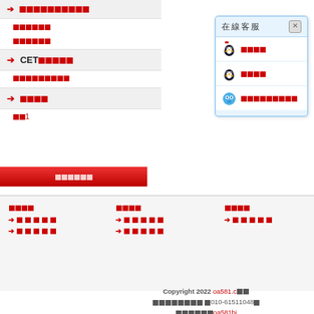■■■■■■■■■■
■■■■■■
■■■■■■
→ CET■■■■■
■■■■■■■■■
→ ■■■■
■■1
[Figure (screenshot): 在線客服 chat widget with three agents: two penguin icons and one blue blob icon, with agent names redacted]
■■■■■■
■■■■
→■■■■■
→■■■■■
→■■■■■
→■■■■■
→■■■■
Copyright 2022 oa581.c■■■■■■■■■■ ■010-61511048■■■■■■■oa581bj